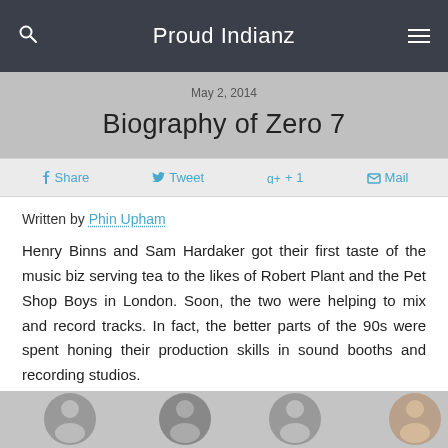Proud Indianz
May 2, 2014
Biography of Zero 7
Share  Tweet  + 1  Mail
Written by Phin Upham
Henry Binns and Sam Hardaker got their first taste of the music biz serving tea to the likes of Robert Plant and the Pet Shop Boys in London. Soon, the two were helping to mix and record tracks. In fact, the better parts of the 90s were spent honing their production skills in sound booths and recording studios.
[Figure (photo): Row of person photos/portraits at the bottom of the article]